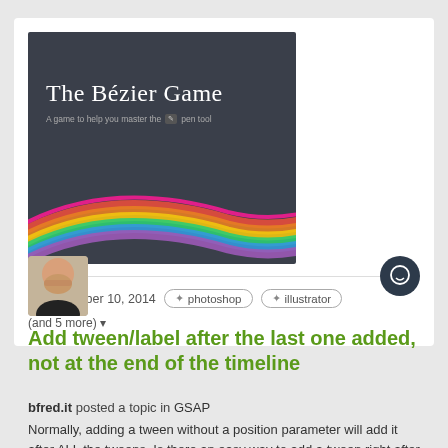[Figure (screenshot): The Bézier Game website screenshot showing title text and rainbow bezier curve on dark background]
November 10, 2014
photoshop
illustrator
(and 5 more)
[Figure (photo): Avatar photo of a bald man with hand on face]
Add tween/label after the last one added, not at the end of the timeline
bfred.it posted a topic in GSAP
Normally, adding a tween without a position parameter will add it after ALL the tweens. Is there an easy way to add a tween right after the